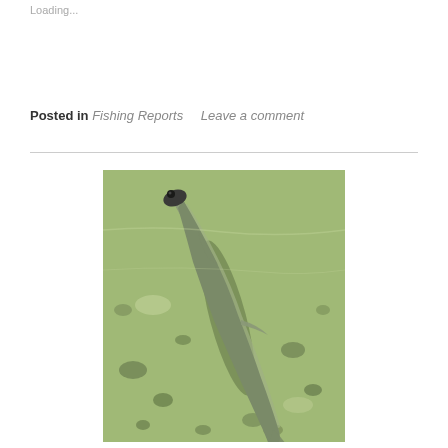Loading...
Posted in Fishing Reports    Leave a comment
[Figure (photo): Aerial/top-down view of a long slender fish (appears to be a sturgeon or gar) swimming over a shallow sandy/rocky riverbed. The fish is gray-green in color, visible through clear water above a gravelly bottom with rocks and sediment.]